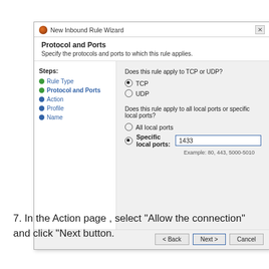[Figure (screenshot): Windows Firewall New Inbound Rule Wizard dialog showing Protocol and Ports step. Left panel lists steps: Rule Type, Protocol and Ports (current), Action, Profile, Name. Right panel shows TCP selected (radio), UDP unselected, and Specific local ports selected with value 1433.]
7. In the Action page , select “Allow the connection” and click “Next button.